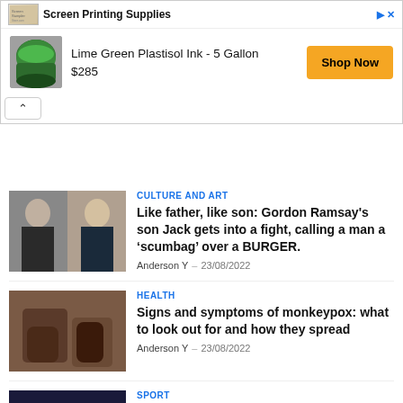[Figure (screenshot): Advertisement banner for Screen Printing Supplies showing Lime Green Plastisol Ink - 5 Gallon product at $285 with Shop Now button]
[Figure (photo): Photo of Jack Ramsay and Gordon Ramsay side by side]
CULTURE AND ART
Like father, like son: Gordon Ramsay's son Jack gets into a fight, calling a man a ‘scumbag’ over a BURGER.
Anderson Y – 23/08/2022
[Figure (photo): Photo of hands showing monkeypox symptoms]
HEALTH
Signs and symptoms of monkeypox: what to look out for and how they spread
Anderson Y – 23/08/2022
[Figure (photo): Photo of basketball players]
SPORT
Sixers potential trade target makes final